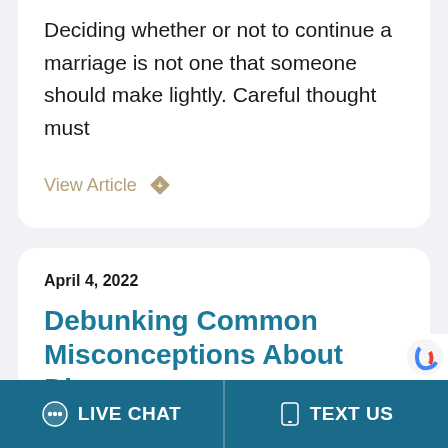Deciding whether or not to continue a marriage is not one that someone should make lightly. Careful thought must
View Article
April 4, 2022
Debunking Common Misconceptions About Divorce
LIVE CHAT  TEXT US